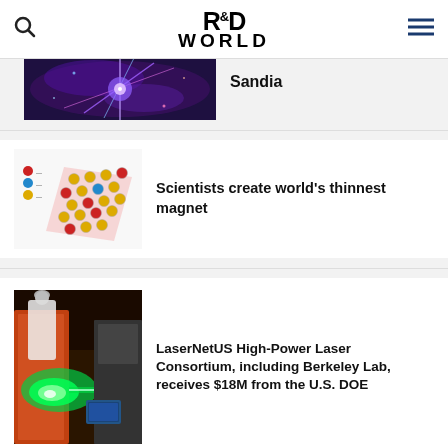R&D WORLD
[Figure (photo): Particle/plasma physics visualization — bright blue and purple energy beams, partial view at top of page]
Sandia
[Figure (illustration): Molecular lattice structure diagram showing a 2D hexagonal crystal with red, yellow, and teal atoms arranged in a flat rhombus shape with legend]
Scientists create world's thinnest magnet
[Figure (photo): Industrial laser laboratory with green laser light, orange/red equipment, worker in white lab coat and hairnet]
LaserNetUS High-Power Laser Consortium, including Berkeley Lab, receives $18M from the U.S. DOE